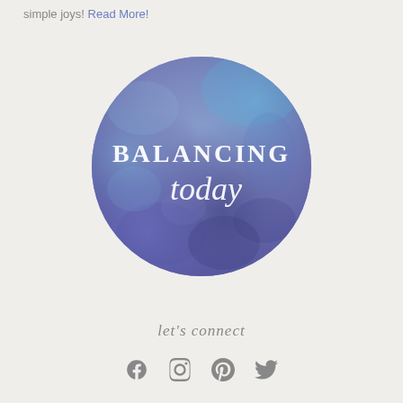simple joys! Read More!
[Figure (logo): Circular watercolor logo with blue-purple gradient wash. Text reads 'BALANCING' in white serif uppercase letters and 'today' in white cursive script below.]
let's connect
[Figure (infographic): Social media icons: Facebook, Instagram, Pinterest, Twitter in a row]